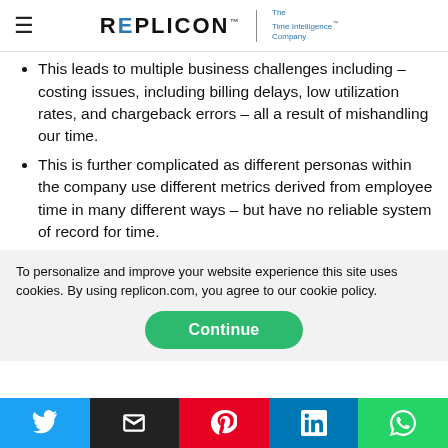REPLICON | The Time Intelligence Company
This leads to multiple business challenges including – costing issues, including billing delays, low utilization rates, and chargeback errors – all a result of mishandling our time.
This is further complicated as different personas within the company use different metrics derived from employee time in many different ways – but have no reliable system of record for time.
To personalize and improve your website experience this site uses cookies. By using replicon.com, you agree to our cookie policy.
Continue
[Figure (other): Social sharing bar with Twitter, Email, Pinterest, LinkedIn, and WhatsApp buttons]